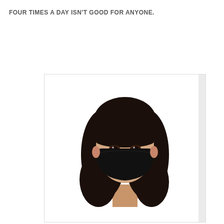FOUR TIMES A DAY ISN'T GOOD FOR ANYONE.
[Figure (photo): A woman with dark shoulder-length hair wearing a black face mask, photographed from the chest up against a white background. She is wearing a white t-shirt and looking directly at the camera.]